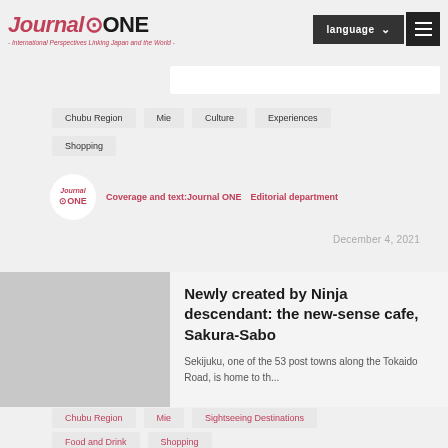Journal ONE - International Perspectives Linking Japan and the World -
Chubu Region
Mie
Culture
Experiences
Shopping
Coverage and text:Journal ONE Editorial department
December 4, 2021
[Figure (photo): Article thumbnail image placeholder]
Newly created by Ninja descendant: the new-sense cafe, Sakura-Sabo
Sekijuku, one of the 53 post towns along the Tokaido Road, is home to th...
Chubu Region
Mie
Sightseeing Destinations
Food and Drink
Shopping